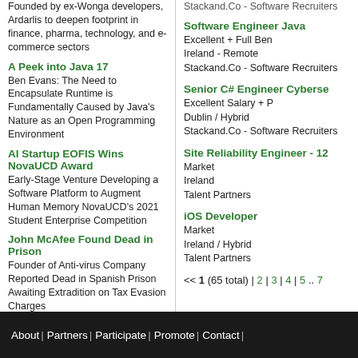Founded by ex-Wonga developers, Ardarlis to deepen footprint in finance, pharma, technology, and e-commerce sectors
A Peek into Java 17
Ben Evans: The Need to Encapsulate Runtime is Fundamentally Caused by Java's Nature as an Open Programming Environment
AI Startup EOFIS Wins NovaUCD Award
Early-Stage Venture Developing a Software Platform to Augment Human Memory NovaUCD's 2021 Student Enterprise Competition
John McAfee Found Dead in Prison
Founder of Anti-virus Company Reported Dead in Spanish Prison Awaiting Extradition on Tax Evasion Charges
Ergo Awarded Azure Expert MSP
Dublin Ergo Joins Global Elite of Microsoft partners with Azure Expert Managed Service Provider Status
<< 1 (1458 total) | 2 | 3 | 4 | 5 .. 146 >>
Software Engineer Java
Excellent + Full Ben
Ireland - Remote
Stackand.Co - Software Recruiters
Senior C# Engineer Cyberse
Excellent Salary + P
Dublin / Hybrid
Stackand.Co - Software Recruiters
Site Reliability Engineer - 12
Market
Ireland
Talent Partners
iOS Developer
Market
Ireland / Hybrid
Talent Partners
<< 1 (65 total) | 2 | 3 | 4 | 5 .. 7
About | Partners | Participate | Promote | Contact |